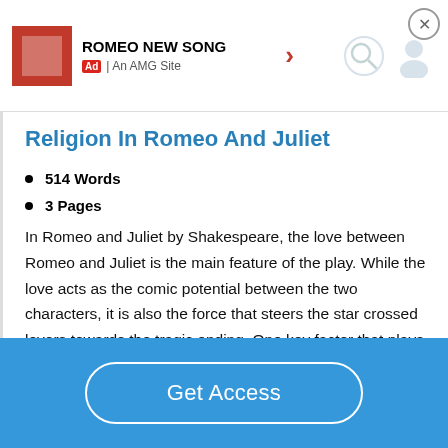ROMEO NEW SONG | Ad | An AMG Site
Religion In Romeo And Juliet
514 Words
3 Pages
In Romeo and Juliet by Shakespeare, the love between Romeo and Juliet is the main feature of the play. While the love acts as the comic potential between the two characters, it is also the force that steers the star crossed lovers towards the tragic ending. One key factor that plays a role in the use love to steer the play towards tragedy is the theme of religion. Because religion plays an important role in the play by sacrilegiously using, sin as a metaphor for their first
Get Access